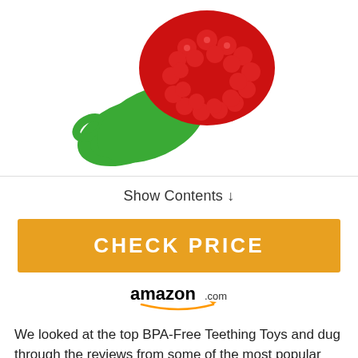[Figure (photo): A raspberry-shaped baby teething toy with red bumpy raspberry top and green dinosaur/frog-style handle, shown on white background]
Show Contents ↓
CHECK PRICE
[Figure (logo): amazon.com logo with smile arc underneath]
We looked at the top BPA-Free Teething Toys and dug through the reviews from some of the most popular review